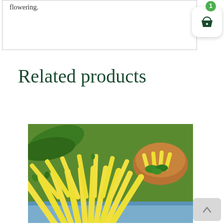flowering.
Related products
[Figure (photo): Close-up photo of yellow wax beans piled together with green leaves and a wooden bowl containing more yellow beans garnished with parsley in the background.]